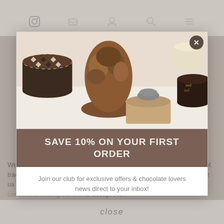[Figure (screenshot): Screenshot of a chocolate retailer website with a modal popup offering 10% off first order for newsletter signup. Background shows dimmed website with navigation icons, cookie notice text, and close bar. Modal contains chocolate product photo, brown banner with offer text, email signup form with checkbox.]
SAVE 10% ON YOUR FIRST ORDER
Join our club for exclusive offers & chocolate lovers news direct to your inbox!
Enter your email address
Remember me on this device
We use cookies to help us provide you with a better service, but do not track anything that can be used to personally identify you. If you prefer us not to set these cookies, please visit our Cookie Settings page or continue browsing our site to accept them
close